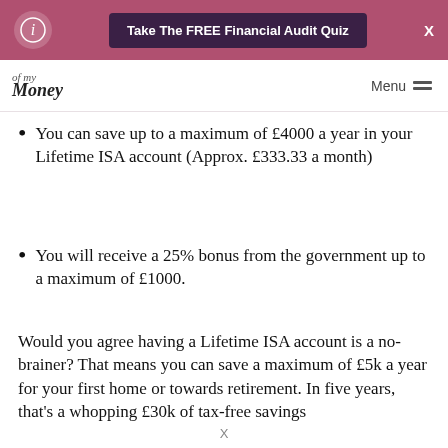[Figure (screenshot): Website header banner with pink/mauve background containing a circular logo icon on the left, a dark button reading 'Take The FREE Financial Audit Quiz' in the center, and an X close button on the right.]
of my Money — Menu
You can save up to a maximum of £4000 a year in your Lifetime ISA account (Approx. £333.33 a month)
You will receive a 25% bonus from the government up to a maximum of £1000.
Would you agree having a Lifetime ISA account is a no-brainer? That means you can save a maximum of £5k a year for your first home or towards retirement. In five years, that's a whopping £30k of tax-free savings